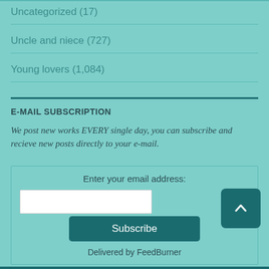Uncategorized (17)
Uncle and niece (727)
Young lovers (1,084)
E-MAIL SUBSCRIPTION
We post new works EVERY single day, you can subscribe and recieve new posts directly to your e-mail.
[Figure (other): Email subscription form with text input, Subscribe button, and Delivered by FeedBurner text]